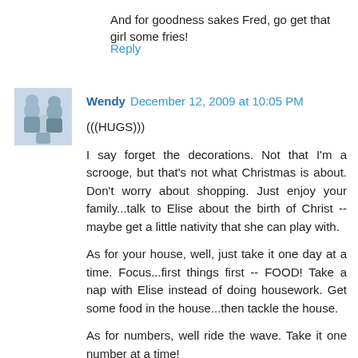And for goodness sakes Fred, go get that girl some fries!
Reply
[Figure (photo): Small avatar photo of a woman with children]
Wendy  December 12, 2009 at 10:05 PM
(((HUGS)))
I say forget the decorations. Not that I'm a scrooge, but that's not what Christmas is about. Don't worry about shopping. Just enjoy your family...talk to Elise about the birth of Christ -- maybe get a little nativity that she can play with.
As for your house, well, just take it one day at a time. Focus...first things first -- FOOD! Take a nap with Elise instead of doing housework. Get some food in the house...then tackle the house.
As for numbers, well ride the wave. Take it one number at a time!